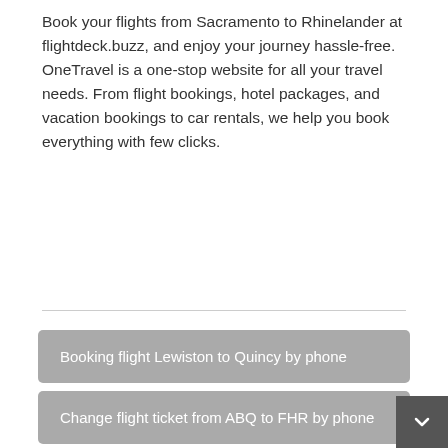Book your flights from Sacramento to Rhinelander at flightdeck.buzz, and enjoy your journey hassle-free. OneTravel is a one-stop website for all your travel needs. From flight bookings, hotel packages, and vacation bookings to car rentals, we help you book everything with few clicks.
Booking flight Lewiston to Quincy by phone
Change flight ticket from ABQ to FHR by phone
Change flight ticket Kahului, Maui to Columbus by call
Booking ticket flight Lebanon to Aguadilla by phone
Booking flight from GCK to PIT by call